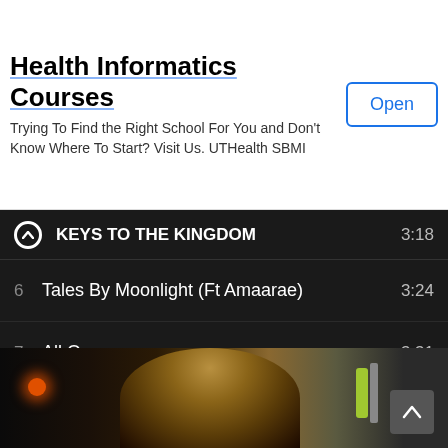[Figure (screenshot): Advertisement banner for Health Informatics Courses from UTHealth SBMI with an Open button]
KEYS TO THE KINGDOM  3:18
6  Tales By Moonlight (Ft Amaarae)  3:24
7  All Over  3:31
8  Ello Baby  2:46
9  Let Dem Kno  2:58
10  Eminado (feat. Don Jazzy)  3:50
[Figure (photo): Photo of a person with curly hair against a gym/studio background]